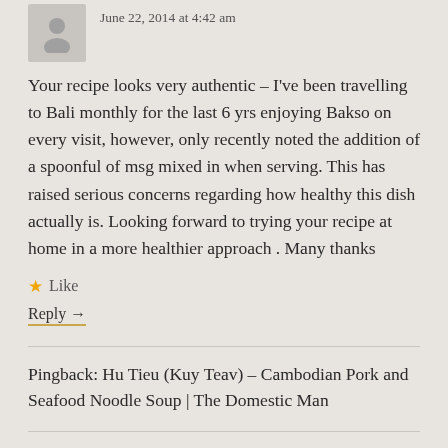June 22, 2014 at 4:42 am
Your recipe looks very authentic – I've been travelling to Bali monthly for the last 6 yrs enjoying Bakso on every visit, however, only recently noted the addition of a spoonful of msg mixed in when serving. This has raised serious concerns regarding how healthy this dish actually is. Looking forward to trying your recipe at home in a more healthier approach . Many thanks
★ Like
Reply →
Pingback: Hu Tieu (Kuy Teav) – Cambodian Pork and Seafood Noodle Soup | The Domestic Man
Pingback: Link Love (2014-08-17) | Becky's Kaleidoscope